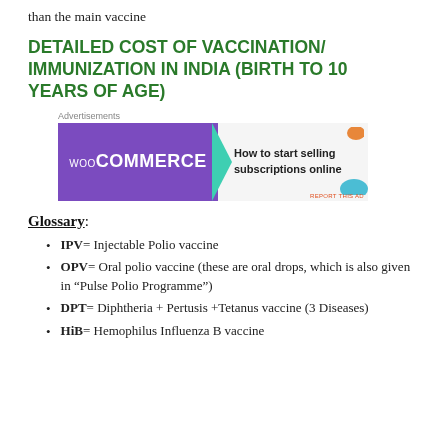than the main vaccine
DETAILED COST OF VACCINATION/ IMMUNIZATION IN INDIA (BIRTH TO 10 YEARS OF AGE)
[Figure (other): WooCommerce advertisement banner - purple background with WooCommerce logo on left, teal arrow, and text 'How to start selling subscriptions online' on right with orange decorative element]
Glossary:
IPV= Injectable Polio vaccine
OPV= Oral polio vaccine (these are oral drops, which is also given in “Pulse Polio Programme”)
DPT= Diphtheria + Pertusis +Tetanus vaccine (3 Diseases)
HiB= Hemophilus Influenza B vaccine